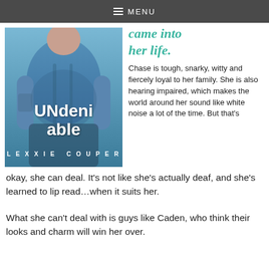≡ MENU
[Figure (illustration): Book cover for 'UNdeniable' by Lexxie Couper. Shows a man in a blue t-shirt. Bold white text reads 'UNdeni able' with 'LEXXIE COUPER' in spaced caps below.]
came into her life.
Chase is tough, snarky, witty and fiercely loyal to her family. She is also hearing impaired, which makes the world around her sound like white noise a lot of the time. But that's okay, she can deal. It's not like she's actually deaf, and she's learned to lip read…when it suits her.
What she can't deal with is guys like Caden, who think their looks and charm will win her over.